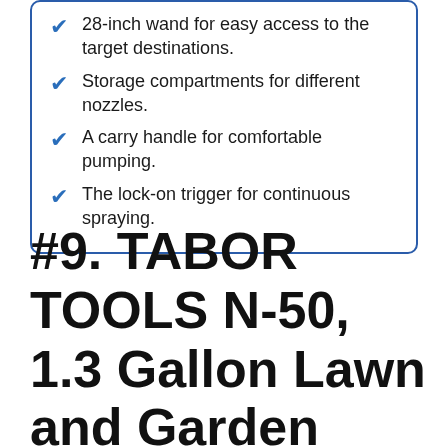28-inch wand for easy access to the target destinations.
Storage compartments for different nozzles.
A carry handle for comfortable pumping.
The lock-on trigger for continuous spraying.
#9. TABOR TOOLS N-50, 1.3 Gallon Lawn and Garden Pump Pressure S…